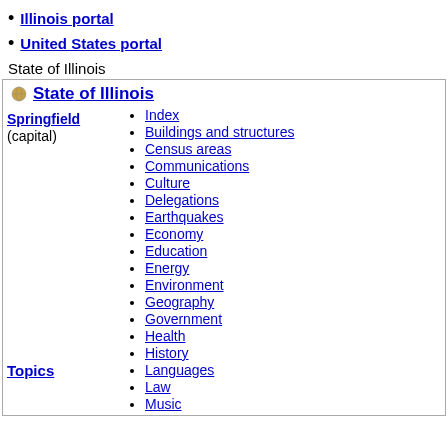Illinois portal
United States portal
State of Illinois
State of Illinois
Springfield (capital)
Index
Buildings and structures
Census areas
Communications
Culture
Delegations
Earthquakes
Economy
Education
Energy
Environment
Geography
Government
Health
History
Languages
Law
Music
Topics